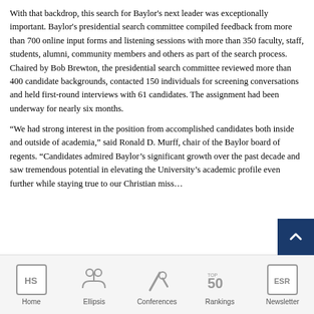With that backdrop, this search for Baylor's next leader was exceptionally important. Baylor's presidential search committee compiled feedback from more than 700 online input forms and listening sessions with more than 350 faculty, staff, students, alumni, community members and others as part of the search process. Chaired by Bob Brewton, the presidential search committee reviewed more than 400 candidate backgrounds, contacted 150 individuals for screening conversations and held first-round interviews with 61 candidates. The assignment had been underway for nearly six months.
“We had strong interest in the position from accomplished candidates both inside and outside of academia,” said Ronald D. Murff, chair of the Baylor board of regents. “Candidates admired Baylor’s significant growth over the past decade and saw tremendous potential in elevating the University’s academic profile even further while staying true to our Christian miss…
Home | Ellipsis | Conferences | Rankings | Newsletter